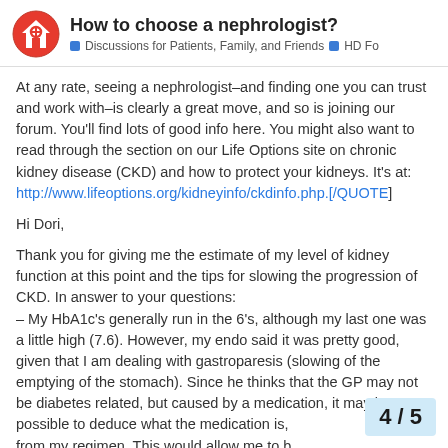How to choose a nephrologist? | Discussions for Patients, Family, and Friends | HD Fo
At any rate, seeing a nephrologist–and finding one you can trust and work with–is clearly a great move, and so is joining our forum. You'll find lots of good info here. You might also want to read through the section on our Life Options site on chronic kidney disease (CKD) and how to protect your kidneys. It's at: http://www.lifeoptions.org/kidneyinfo/ckdinfo.php.[/QUOTE]
Hi Dori,
Thank you for giving me the estimate of my level of kidney function at this point and the tips for slowing the progression of CKD. In answer to your questions:
– My HbA1c's generally run in the 6's, although my last one was a little high (7.6). However, my endo said it was pretty good, given that I am dealing with gastroparesis (slowing of the emptying of the stomach). Since he thinks that the GP may not be diabetes related, but caused by a medication, it may be possible to deduce what the medication is, from my regimen. This would allow me to b
4 / 5